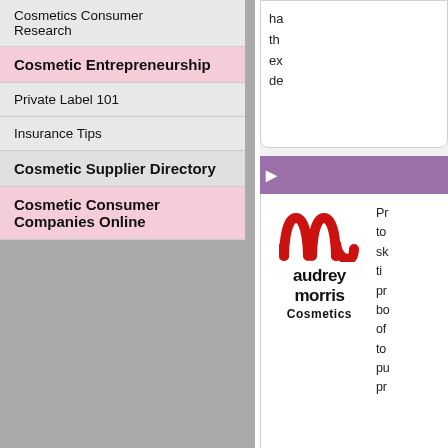Cosmetics Consumer Research
Cosmetic Entrepreneurship
Private Label 101
Insurance Tips
Cosmetic Supplier Directory
Cosmetic Consumer Companies Online
ha
th
ex
de
[Figure (logo): Audrey Morris Cosmetics logo with red double-arch symbol and bold lowercase text]
Pr to sk ti pr bo of to pu pr